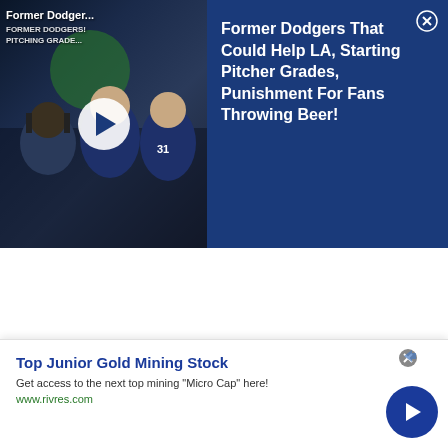[Figure (screenshot): Video thumbnail showing Dodgers players with play button overlay and text overlay reading 'Former Dodger... FORMER DODGERS! PITCHING GRADE...']
Former Dodgers That Could Help LA, Starting Pitcher Grades, Punishment For Fans Throwing Beer!
[Figure (infographic): Advertisement banner: Top Junior Gold Mining Stock. Get access to the next top mining Micro Cap here! www.rivres.com]